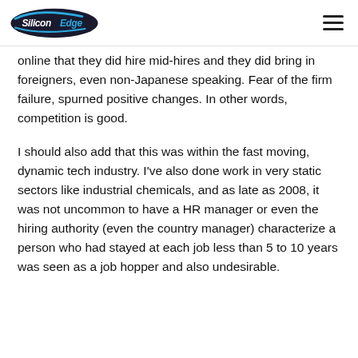SiliconEdge [logo] [hamburger menu]
online that they did hire mid-hires and they did bring in foreigners, even non-Japanese speaking. Fear of the firm failure, spurned positive changes. In other words, competition is good.
I should also add that this was within the fast moving, dynamic tech industry. I've also done work in very static sectors like industrial chemicals, and as late as 2008, it was not uncommon to have a HR manager or even the hiring authority (even the country manager) characterize a person who had stayed at each job less than 5 to 10 years was seen as a job hopper and also undesirable.